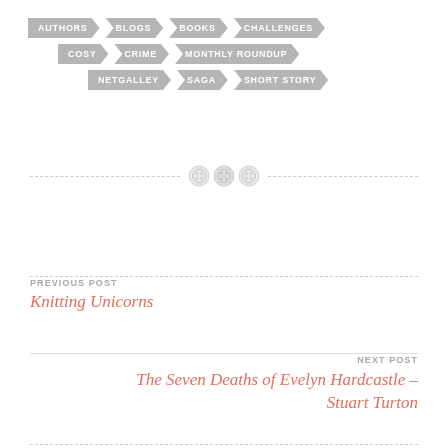[Figure (infographic): Navigation tag buttons in three rows: Row 1: AUTHORS, BLOGS, BOOKS, CHALLENGES. Row 2: COSY, CRIME, MONTHLY ROUNDUP. Row 3: NETGALLEY, SAGA, SHORT STORY. All tags are grey arrow/chevron shapes with white uppercase text.]
[Figure (illustration): Horizontal dashed divider line with three button/circle icons in the center (decorative buttons illustration)]
PREVIOUS POST
Knitting Unicorns
NEXT POST
The Seven Deaths of Evelyn Hardcastle – Stuart Turton